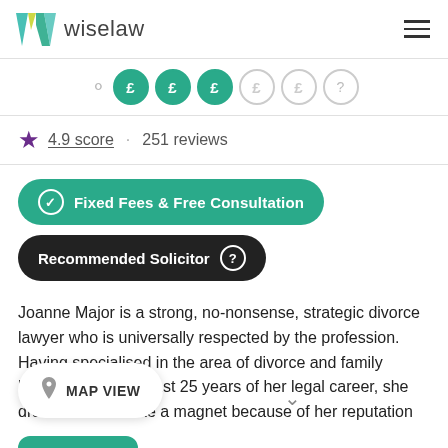[Figure (logo): Wiselaw logo with W icon in teal/green/yellow and text 'wiselaw']
[Figure (infographic): Fee level indicator: person icon followed by 3 active green £ icons and 2 inactive grey £ icons, plus a question mark circle]
4.9 score · 251 reviews
Fixed Fees & Free Consultation
Recommended Solicitor
Joanne Major is a strong, no-nonsense, strategic divorce lawyer who is universally respected by the profession. Having specialised in the area of divorce and family breakdown for the last 25 years of her legal career, she draws clients in like a magnet because of her reputation
MAP VIEW